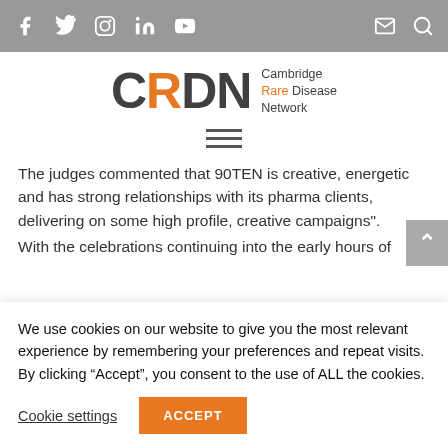CRDN Cambridge Rare Disease Network - social media bar
[Figure (logo): CRDN Cambridge Rare Disease Network logo with large bold letters CRDN and subtitle text]
[Figure (other): Hamburger menu icon with three horizontal lines]
The judges commented that 90TEN is creative, energetic and has strong relationships with its pharma clients, delivering on some high profile, creative campaigns".
With the celebrations continuing into the early hours of
We use cookies on our website to give you the most relevant experience by remembering your preferences and repeat visits. By clicking “Accept”, you consent to the use of ALL the cookies.
Cookie settings   ACCEPT